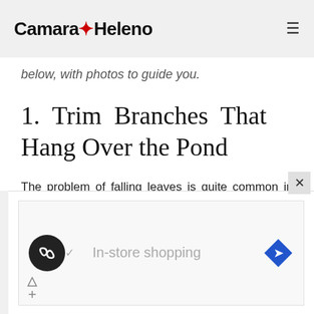Camara Heleno
below, with photos to guide you.
1.  Trim  Branches  That Hang Over the Pond
The problem of falling leaves is quite common in gardens with deciduous trees. If you have branches of these types of trees hanging over your pond, you can expect this problem to be worse.
[Figure (infographic): Advertisement banner with a circular dark logo icon with infinity-like symbol, checkmark, text 'In-store shopping', and a blue diamond-shaped navigation icon. Below are two small control buttons.]